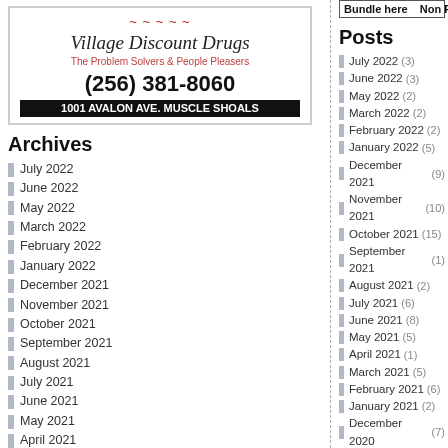[Figure (logo): Village Discount Drugs advertisement with store name, tagline 'The Problem Solvers & People Pleasers', phone (256) 381-8060, and address 1001 AVALON AVE. MUSCLE SHOALS]
Archives
July 2022
June 2022
May 2022
March 2022
February 2022
January 2022
December 2021
November 2021
October 2021
September 2021
August 2021
July 2021
June 2021
May 2021
April 2021
March 2021
February 2021
January 2021
December 2020
Posts
July 2022 (3)
June 2022 (3)
May 2022 (2)
March 2022 (2)
February 2022 (2)
January 2022 (5)
December 2021 (9)
November 2021 (10)
October 2021 (15)
September 2021 (1)
August 2021 (2)
July 2021 (6)
June 2021 (8)
May 2021 (5)
April 2021 (1)
March 2021 (5)
February 2021 (6)
January 2021 (2)
December 2020 (7)
November 2020 (5)
October 2020 (1)
September 2020 (7)
August 2020 (5)